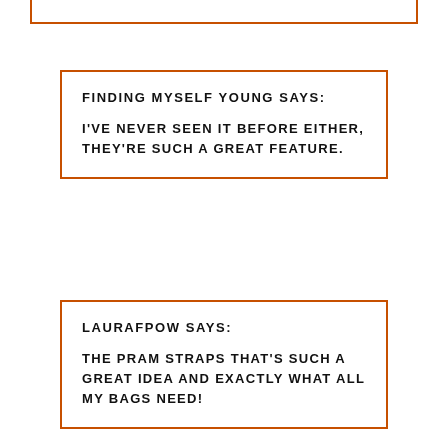FINDING MYSELF YOUNG SAYS:

I'VE NEVER SEEN IT BEFORE EITHER, THEY'RE SUCH A GREAT FEATURE.
LAURAFPOW SAYS:

THE PRAM STRAPS THAT'S SUCH A GREAT IDEA AND EXACTLY WHAT ALL MY BAGS NEED!